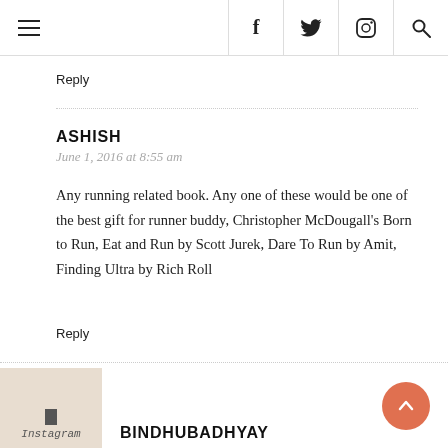Navigation bar with hamburger menu and social icons: f (Facebook), Twitter bird, Instagram, Search
Reply
ASHISH
June 1, 2016 at 8:55 am

Any running related book. Any one of these would be one of the best gift for runner buddy, Christopher McDougall's Born to Run, Eat and Run by Scott Jurek, Dare To Run by Amit, Finding Ultra by Rich Roll
Reply
BINDHUBADHYAY